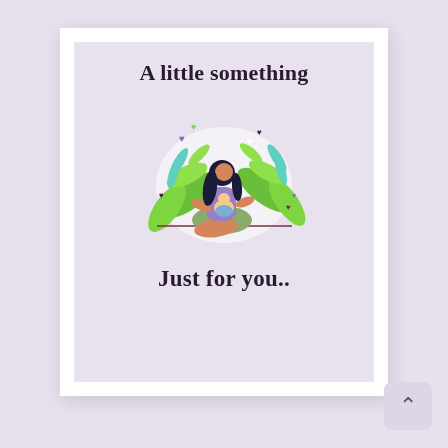A little something
[Figure (illustration): A woman with long dark hair sitting cross-legged, cradling a baby, surrounded by large green tropical leaves and small floating hearts (purple, green, dark) on a light background.]
Just for you..